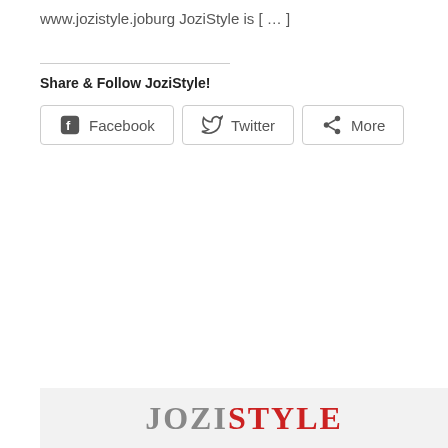www.jozistyle.joburg JoziStyle is [ … ]
Share & Follow JoziStyle!
[Figure (other): Social sharing buttons: Facebook, Twitter, More]
[Figure (logo): JoziStyle logo text partially visible at bottom of page]